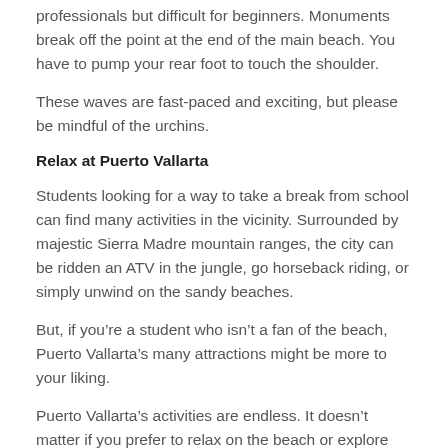professionals but difficult for beginners. Monuments break off the point at the end of the main beach. You have to pump your rear foot to touch the shoulder.
These waves are fast-paced and exciting, but please be mindful of the urchins.
Relax at Puerto Vallarta
Students looking for a way to take a break from school can find many activities in the vicinity. Surrounded by majestic Sierra Madre mountain ranges, the city can be ridden an ATV in the jungle, go horseback riding, or simply unwind on the sandy beaches.
But, if you’re a student who isn’t a fan of the beach, Puerto Vallarta’s many attractions might be more to your liking.
Puerto Vallarta’s activities are endless. It doesn’t matter if you prefer to relax on the beach or explore the majestic